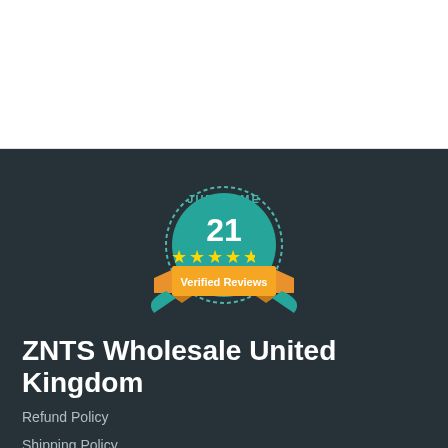[Figure (logo): Judge.me badge showing 21 verified reviews with 4.5 star rating on a teal circular badge with orange banner reading 'Verified Reviews']
ZNTS Wholesale United Kingdom
Refund Policy
Shipping Policy